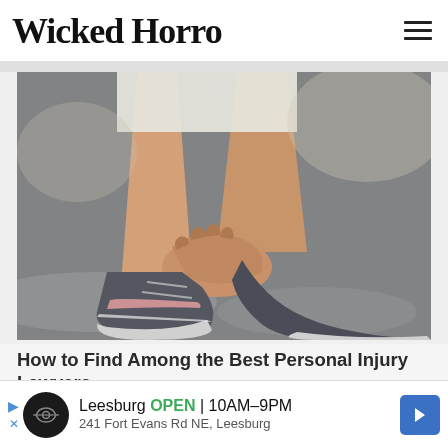Wicked Horror
[Figure (photo): Close-up photo of a person's legs on asphalt, bent over grabbing their ankle/lower leg area, wearing dark gray sneakers with pink accents, suggesting a personal injury or sports injury scenario.]
How to Find Among the Best Personal Injury Lawyers
pruig.com
[Figure (photo): Thumbnail strip showing furniture/office interior images – wooden shelving units, yellow chair, and various items. Two separate thumbnail images side by side.]
Leesburg OPEN 10AM–9PM 241 Fort Evans Rd NE, Leesburg